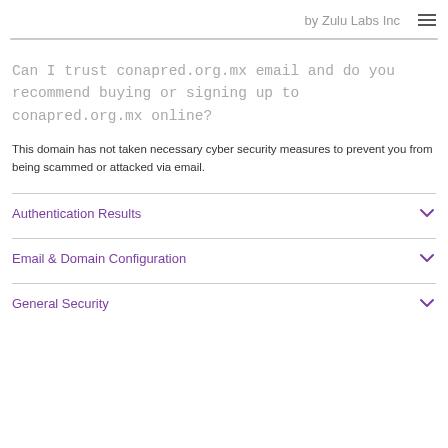by Zulu Labs Inc
Can I trust conapred.org.mx email and do you recommend buying or signing up to conapred.org.mx online?
This domain has not taken necessary cyber security measures to prevent you from being scammed or attacked via email.
Authentication Results
Email & Domain Configuration
General Security